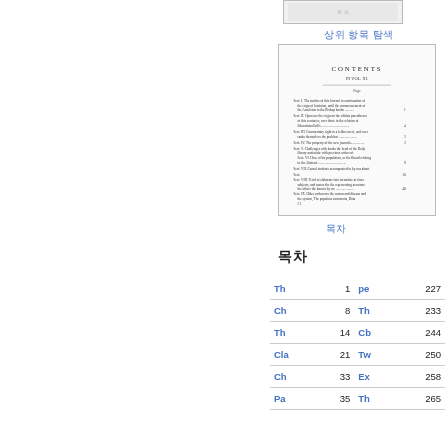[Figure (illustration): Small thumbnail image of a book page at top right]
상위 항목 탐색
[Figure (illustration): Scanned image of Contents page of a historical book showing table of contents entries]
목차
목차
| 항목 | 페이지 | 항목 | 페이지 |
| --- | --- | --- | --- |
| Th | 1 | pe | 227 |
| Ch | 8 | Th | 233 |
| Th | 14 | Cb | 244 |
| Cla | 21 | Tw | 250 |
| Ch | 33 | Ex | 258 |
| Pa | 35 | Th | 265 |